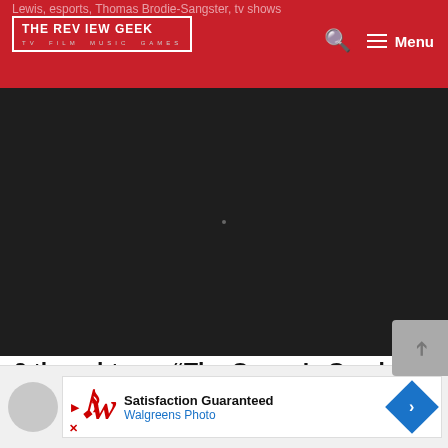Lewis, esports, Thomas Brodie-Sangster, tv shows
[Figure (logo): The Review Geek logo — white bordered box with text 'THE REV IEW GEEK' and subtitle 'TV FILM MUSIC GAMES' on a red background header]
[Figure (photo): Dark near-black image area representing a video or image placeholder on the website]
3 thoughts on “The Queen’s Gambit – Episode 4 Recap & Review”
[Figure (other): Walgreens Photo advertisement banner with 'Satisfaction Guaranteed' text, Walgreens Photo branding, and blue diamond arrow icon]